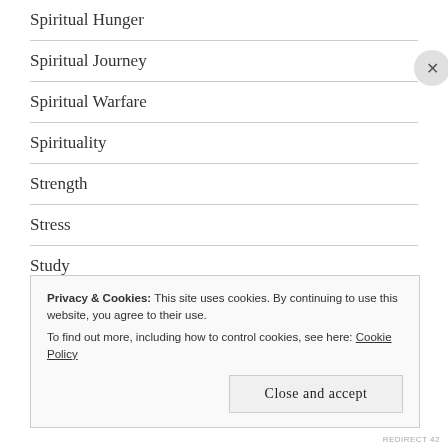Spiritual Hunger
Spiritual Journey
Spiritual Warfare
Spirituality
Strength
Stress
Study
Submit
Suffering
Privacy & Cookies: This site uses cookies. By continuing to use this website, you agree to their use.
To find out more, including how to control cookies, see here: Cookie Policy
Close and accept
REDIRECT 42